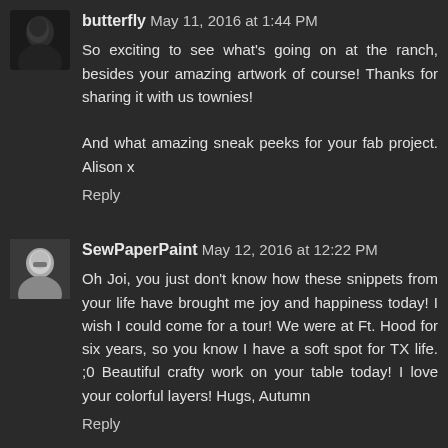[Figure (photo): Small avatar thumbnail of user butterfly, dark silhouette photo]
butterfly May 11, 2016 at 1:44 PM
So exciting to see what's going on at the ranch, besides your amazing artwork of course! Thanks for sharing it with us townies!

And what amazing sneak peeks for your fab project. Alison x
Reply
[Figure (photo): Small avatar thumbnail of SewPaperPaint user, person with glasses]
SewPaperPaint May 12, 2016 at 12:22 PM
Oh Joi, you just don't know how these snippets from your life have brought me joy and happiness today! I wish I could come for a tour! We were at Ft. Hood for six years, so you know I have a soft spot for TX life. ;0 Beautiful crafty work on your table today! I love your colorful layers! Hugs, Autumn
Reply
[Figure (photo): Partial avatar of www.deeadamsart.blogspot.co.uk, orange/golden circular avatar]
www.deeadamsart.blogspot.co.uk May 16, 2016 at